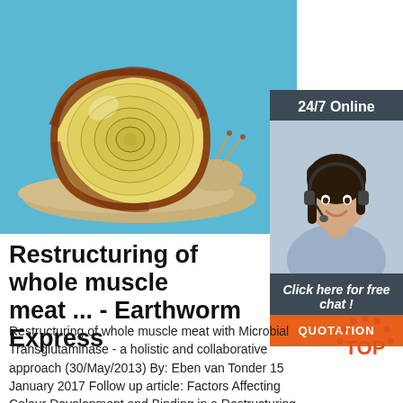[Figure (photo): Close-up photo of a garden snail with a yellow and brown striped shell on a bright blue background]
[Figure (photo): Advertisement panel with a woman wearing a headset smiling, labeled 24/7 Online with Click here for free chat and QUOTATION button]
Restructuring of whole muscle meat ... - Earthworm Express
Restructuring of whole muscle meat with Microbial Transglutaminase - a holistic and collaborative approach (30/May/2013) By: Eben van Tonder 15 January 2017 Follow up article: Factors Affecting Colour Development and Binding in a Restructuring System Based on Transglutaminase. The